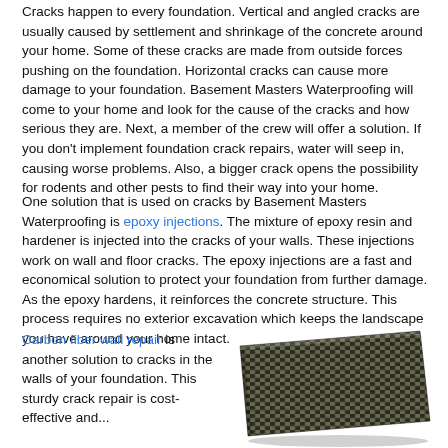Cracks happen to every foundation. Vertical and angled cracks are usually caused by settlement and shrinkage of the concrete around your home. Some of these cracks are made from outside forces pushing on the foundation. Horizontal cracks can cause more damage to your foundation. Basement Masters Waterproofing will come to your home and look for the cause of the cracks and how serious they are. Next, a member of the crew will offer a solution. If you don't implement foundation crack repairs, water will seep in, causing worse problems. Also, a bigger crack opens the possibility for rodents and other pests to find their way into your home.
One solution that is used on cracks by Basement Masters Waterproofing is epoxy injections. The mixture of epoxy resin and hardener is injected into the cracks of your walls. These injections work on wall and floor cracks. The epoxy injections are a fast and economical solution to protect your foundation from further damage. As the epoxy hardens, it reinforces the concrete structure. This process requires no exterior excavation which keeps the landscape you have around your home intact.
Carbon fiber wall repair is another solution to cracks in the walls of your foundation. This sturdy crack repair is cost-effective and...
[Figure (photo): A woven carbon fiber fabric sheet shown in a 3D perspective view, with a diagonal/angled grid woven pattern in dark and light tones.]